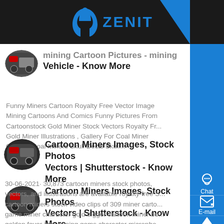ZENIT
[Figure (screenshot): Partial thumbnail of a mining vehicle image, shown as oval/circle crop on left]
Mining Cartoon Pictures - Mining Vehicle - Know More
Funny Miners Cartoon Royalty Free Vector Image Mining Cartoons And Comics Funny Pictures From Cartoonstock Gold Miner Stock Vectors Royalty Fr... Gold Miner Illustrations , Gallery For Coal Miner Cartoon Coal Miners Skull Decal Skull...
[Figure (screenshot): Thumbnail of a mining scene, shown as oval/circle crop on left]
Cartoon Miners Images, Stock Photos Vectors | Shutterstock - Know More
30-06-2021· 30,873 cartoon miners stock photos, vectors, and illustrations are available royalty-free S... cartoon miners stock video clips of 309 miner carto... game miner character gold digger cartoon miner bo... golden fever jobs mining gems character micropho...